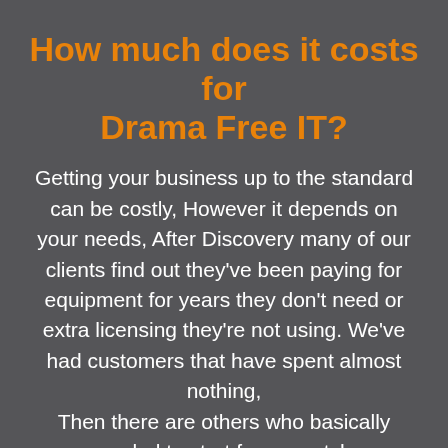How much does it costs for Drama Free IT?
Getting your business up to the standard can be costly, However it depends on your needs, After Discovery many of our clients find out they've been paying for equipment for years they don't need or extra licensing they're not using. We've had customers that have spent almost nothing, Then there are others who basically needed to start from scratch.